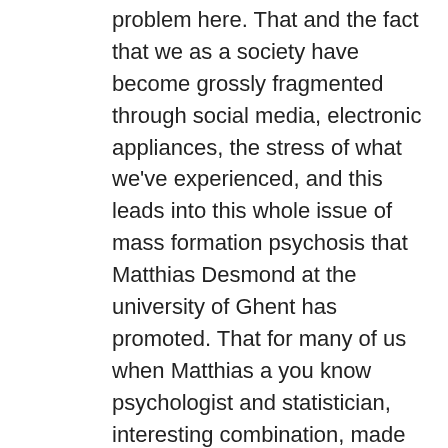problem here. That and the fact that we as a society have become grossly fragmented through social media, electronic appliances, the stress of what we've experienced, and this leads into this whole issue of mass formation psychosis that Matthias Desmond at the university of Ghent has promoted. That for many of us when Matthias a you know psychologist and statistician, interesting combination, made public a lot of us as we listened to Matthias we said oh that makes sense, that that was like the brain that what happened when I encountered the Trusted News Initiative I said oh. I don't know if you saw the Brett Weinstein podcast with me and Steve Kirsch where that lit this whole fire all over the world. Brett ends with the with the basically the question if you listen to the long